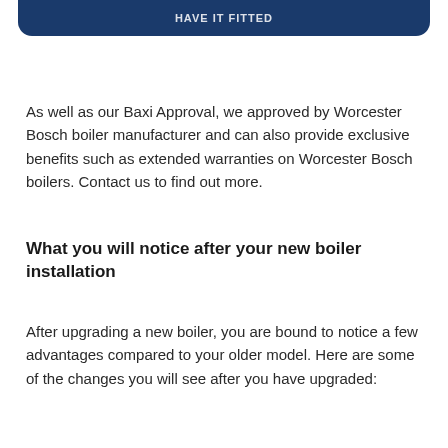HAVE IT FITTED
As well as our Baxi Approval, we approved by Worcester Bosch boiler manufacturer and can also provide exclusive benefits such as extended warranties on Worcester Bosch boilers. Contact us to find out more.
What you will notice after your new boiler installation
After upgrading a new boiler, you are bound to notice a few advantages compared to your older model. Here are some of the changes you will see after you have upgraded: